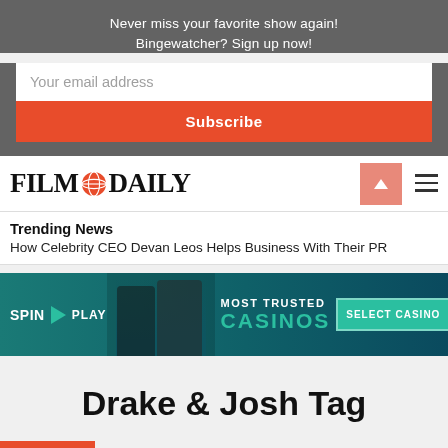Never miss your favorite show again! Bingewatcher? Sign up now!
Your email address
Subscribe
[Figure (logo): Film Daily logo with globe icon]
Trending News
How Celebrity CEO Devan Leos Helps Business With Their PR
[Figure (infographic): SpinPlay casino advertisement banner: MOST TRUSTED CASINOS - SELECT CASINO]
Drake & Josh Tag
Archive